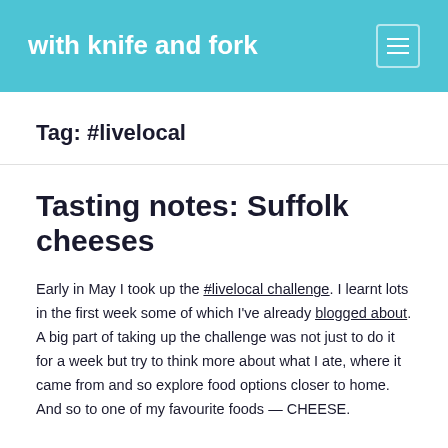with knife and fork
Tag: #livelocal
Tasting notes: Suffolk cheeses
Early in May I took up the #livelocal challenge. I learnt lots in the first week some of which I've already blogged about. A big part of taking up the challenge was not just to do it for a week but try to think more about what I ate, where it came from and so explore food options closer to home. And so to one of my favourite foods — CHEESE.